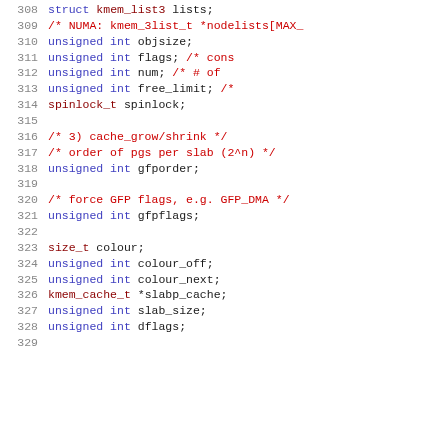[Figure (screenshot): Source code listing showing lines 308-329 of a C struct definition, likely kmem_cache_t, with fields including lists, nodelists, objsize, flags, num, free_limit, spinlock, gfporder, gfpflags, colour, colour_off, colour_next, slabp_cache, slab_size, dflags. Syntax highlighted with line numbers in gray, keywords in blue, types in dark red/maroon, comments in red.]